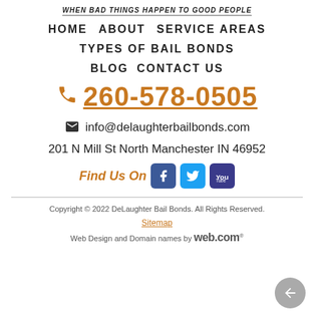WHEN BAD THINGS HAPPEN TO GOOD PEOPLE
HOME  ABOUT  SERVICE AREAS
TYPES OF BAIL BONDS
BLOG  CONTACT US
260-578-0505
info@delaughterbailbonds.com
201 N Mill St North Manchester IN 46952
Find Us On
Copyright © 2022 DeLaughter Bail Bonds. All Rights Reserved. Sitemap Web Design and Domain names by web.com®